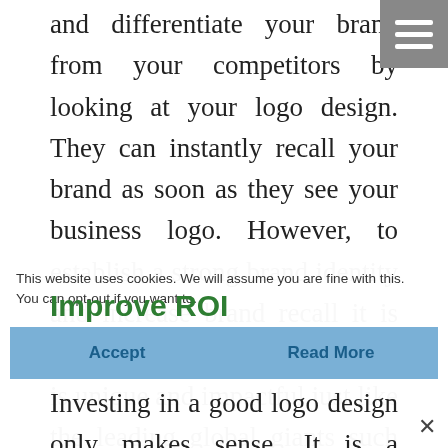and differentiate your brand from your competitors by looking at your logo design. They can instantly recall your brand as soon as they see your business logo. However, to establish a strong brand identity and increase brand recall it is important that your logo design is unique and impactful just like the leading global giants such as Apple and Nike. The moment people see the half eaten apple, they instantly recall the brand 'Apple'. You too can enjoy this level of brand recall if you get your logo designed by our affiliate.
Improve ROI
Investing in a good logo design only makes sense. It is a onetime investment that can deliver you
This website uses cookies. We will assume you are fine with this. You can opt-out if you want to.